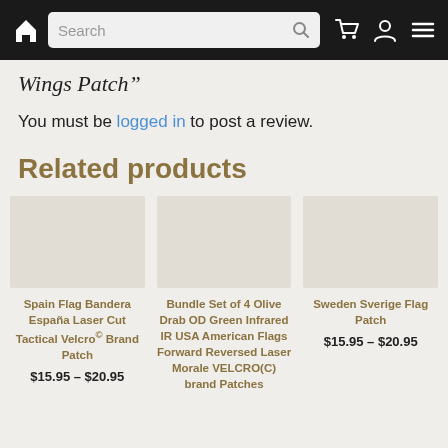Navigation bar with home, search, cart, account, and menu icons
Wings Patch”
You must be logged in to post a review.
Related products
Spain Flag Bandera España Laser Cut Tactical Velcro® Brand Patch — $15.95 – $20.95
Bundle Set of 4 Olive Drab OD Green Infrared IR USA American Flags Forward Reversed Laser Morale VELCRO(C) brand Patches
Sweden Sverige Flag Patch — $15.95 – $20.95